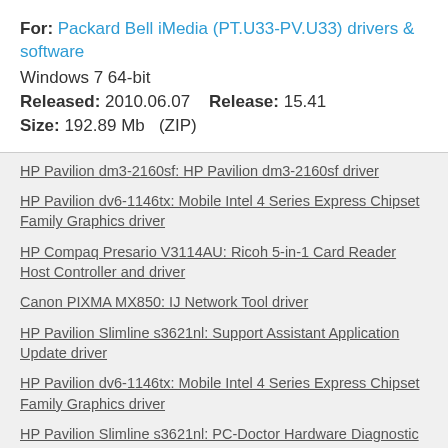For: Packard Bell iMedia (PT.U33-PV.U33) drivers & software
Windows 7 64-bit
Released: 2010.06.07   Release: 15.41
Size: 192.89 Mb  (ZIP)
HP Pavilion dm3-2160sf: HP Pavilion dm3-2160sf driver
HP Pavilion dv6-1146tx: Mobile Intel 4 Series Express Chipset Family Graphics driver
HP Compaq Presario V3114AU: Ricoh 5-in-1 Card Reader Host Controller and driver
Canon PIXMA MX850: IJ Network Tool driver
HP Pavilion Slimline s3621nl: Support Assistant Application Update driver
HP Pavilion dv6-1146tx: Mobile Intel 4 Series Express Chipset Family Graphics driver
HP Pavilion Slimline s3621nl: PC-Doctor Hardware Diagnostic Tools Update driver